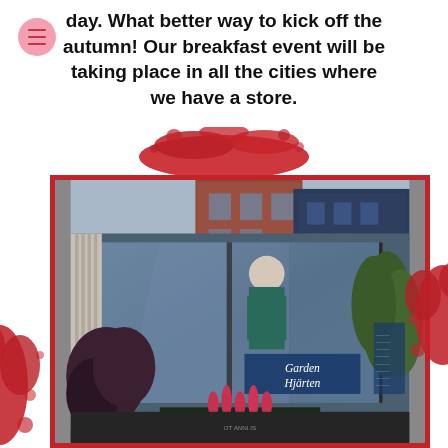day. What better way to kick off the autumn! Our breakfast event will be taking place in all the cities where we have a store.
[Figure (photo): Exterior photo of a retail store with large glass windows showing a mannequin dressed in a teal outfit, a blue sign reading 'Garden Hjärten', and plants/trees in front. Urban street scene reflected in the glass. Photo is framed with a red border and has red paint splatter decorations around it.]